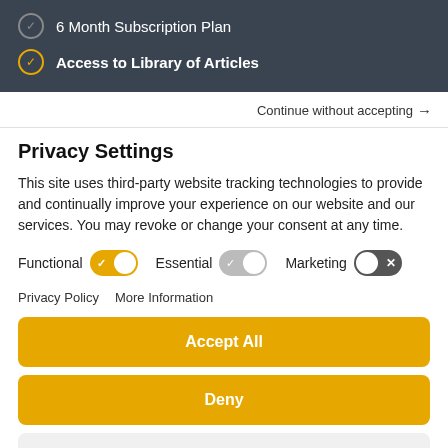6 Month Subscription Plan
Access to Library of Articles
Continue without accepting →
Privacy Settings
This site uses third-party website tracking technologies to provide and continually improve your experience on our website and our services. You may revoke or change your consent at any time.
Functional [toggle on] Essential [toggle grey] Marketing [toggle off]
Privacy Policy   More Information
Accept All
Deny
Save Settings
Powered by Usercentrics Consent Management